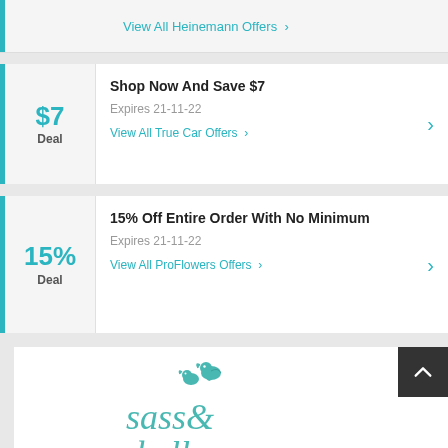View All Heinemann Offers >
Shop Now And Save $7
Expires 21-11-22
View All True Car Offers >
15% Off Entire Order With No Minimum
Expires 21-11-22
View All ProFlowers Offers >
[Figure (logo): Sass & Belle brand logo with teal bird illustrations and teal serif italic text]